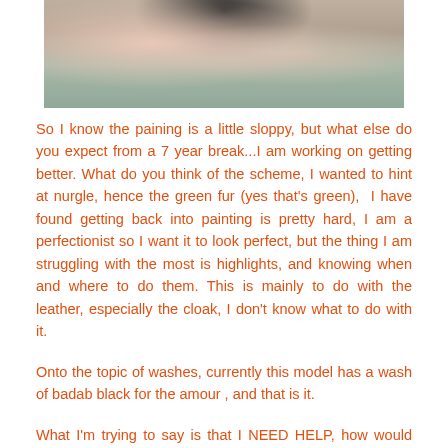[Figure (photo): Close-up photo of a painted miniature figure, showing hands/fingers holding the model against a grey/outdoor background]
So I know the paining is a little sloppy, but what else do you expect from a 7 year break...I am working on getting better. What do you think of the scheme, I wanted to hint at nurgle, hence the green fur (yes that's green),  I have found getting back into painting is pretty hard, I am a perfectionist so I want it to look perfect, but the thing I am struggling with the most is highlights, and knowing when and where to do them. This is mainly to do with the leather, especially the cloak, I don't know what to do with it.
Onto the topic of washes, currently this model has a wash of badab black for the amour , and that is it.
What I'm trying to say is that I NEED HELP, how would you guys go about improving this, any techniques, tips or general